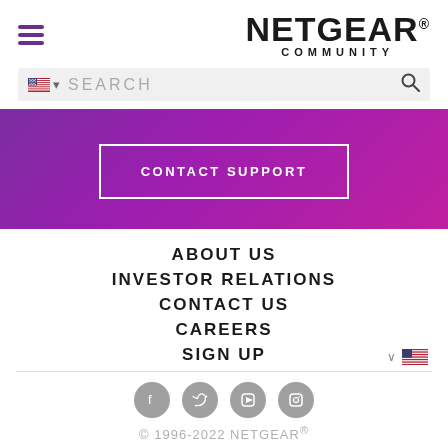[Figure (logo): NETGEAR Community logo with hamburger menu icon on the left]
[Figure (screenshot): Search bar with US flag language selector and search icon]
[Figure (infographic): Purple gradient banner with CONTACT SUPPORT button]
ABOUT US
INVESTOR RELATIONS
CONTACT US
CAREERS
SIGN UP
© 1996-2022 NETGEAR®